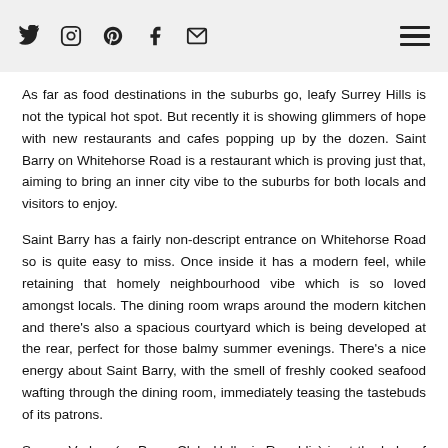Social media icons: Twitter, Instagram, Pinterest, Facebook, Email. Hamburger menu.
As far as food destinations in the suburbs go, leafy Surrey Hills is not the typical hot spot. But recently it is showing glimmers of hope with new restaurants and cafes popping up by the dozen. Saint Barry on Whitehorse Road is a restaurant which is proving just that, aiming to bring an inner city vibe to the suburbs for both locals and visitors to enjoy.
Saint Barry has a fairly non-descript entrance on Whitehorse Road so is quite easy to miss. Once inside it has a modern feel, while retaining that homely neighbourhood vibe which is so loved amongst locals. The dining room wraps around the modern kitchen and there's also a spacious courtyard which is being developed at the rear, perfect for those balmy summer evenings. There's a nice energy about Saint Barry, with the smell of freshly cooked seafood wafting through the dining room, immediately teasing the tastebuds of its patrons.
Spyros Vrakas (ex Press Club, Hellenic Republic) is at the helm of the kitchen, drawing on his experience in Australia with his